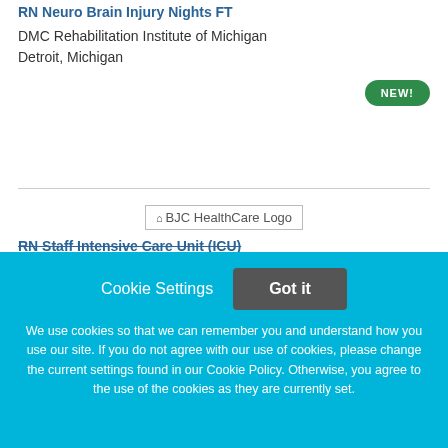RN Neuro Brain Injury Nights FT
DMC Rehabilitation Institute of Michigan
Detroit, Michigan
NEW!
[Figure (logo): BJC HealthCare Logo placeholder image]
RN Staff Intensive Care Unit (ICU)
Cookie Settings
Got it
We use cookies so that we can remember you and understand how you use our site. If you do not agree with our use of cookies, please change the current settings found in our Cookie Policy. Otherwise, you agree to the use of the cookies as they are currently set.